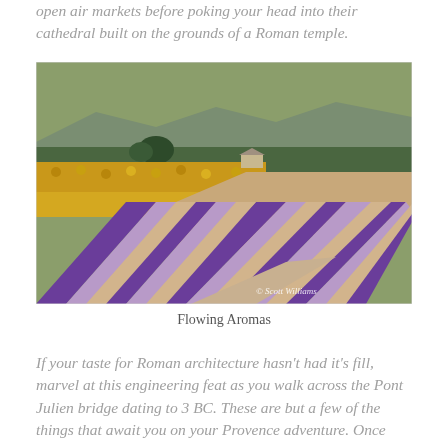open air markets before poking your head into their cathedral built on the grounds of a Roman temple.
[Figure (photo): Lavender field with rows of purple lavender and yellow sunflowers in the background, mountains visible in the distance. A small stone building is visible near the treeline. Photo credit: © Scott Williams. Title: Flowing Aromas.]
Flowing Aromas
If your taste for Roman architecture hasn't had it's fill, marvel at this engineering feat as you walk across the Pont Julien bridge dating to 3 BC. These are but a few of the things that await you on your Provence adventure. Once more, as with Rome,